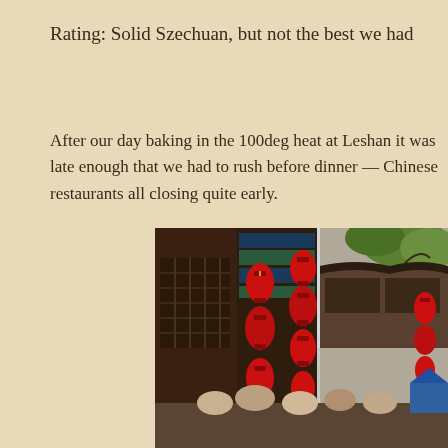Rating: Solid Szechuan, but not the best we had
After our day baking in the 100deg heat at Leshan it was late enough that we had to rush before dinner — Chinese restaurants all closing quite early.
[Figure (photo): Street-level view looking up at a traditional Chinese architecture alleyway lined with red lanterns hanging from dark wooden buildings. A crowd of people is visible at the bottom. Lush green plants grow on rooftops.]